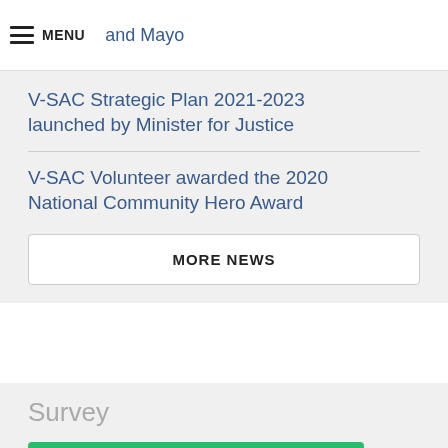Call out for Volunteers – Galway and Mayo  MENU
V-SAC Strategic Plan 2021-2023 launched by Minister for Justice
V-SAC Volunteer awarded the 2020 National Community Hero Award
MORE NEWS
Survey
V-SAC Service User Survey